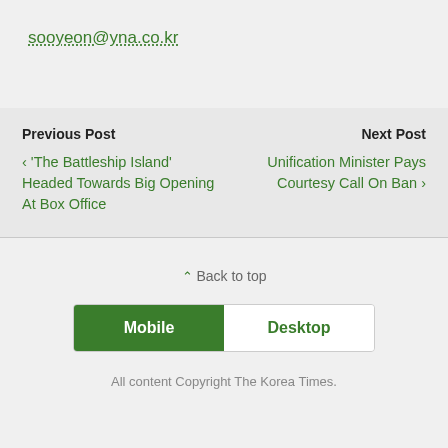sooyeon@yna.co.kr
Previous Post
‹ 'The Battleship Island' Headed Towards Big Opening At Box Office
Next Post
Unification Minister Pays Courtesy Call On Ban ›
⌃ Back to top
Mobile   Desktop
All content Copyright The Korea Times.